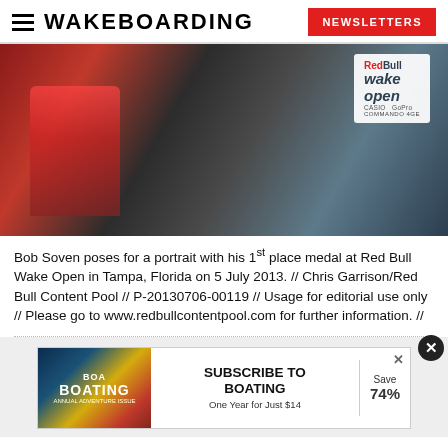WAKEBOARDING | NEWSLETTERS
[Figure (photo): Bob Soven holding his wakeboard with Red Bull Wake Open branding in the background at a dock in Tampa, Florida.]
Bob Soven poses for a portrait with his 1st place medal at Red Bull Wake Open in Tampa, Florida on 5 July 2013. // Chris Garrison/Red Bull Content Pool // P-20130706-00119 // Usage for editorial use only // Please go to www.redbullcontentpool.com for further information. //
[Figure (infographic): Advertisement: Subscribe to Boating - One Year for Just $14, Save 74%]